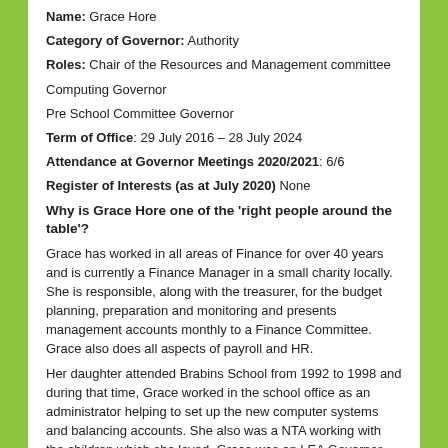Name: Grace Hore
Category of Governor: Authority
Roles: Chair of the Resources and Management committee
Computing Governor
Pre School Committee Governor
Term of Office: 29 July 2016 – 28 July 2024
Attendance at Governor Meetings 2020/2021: 6/6
Register of Interests (as at July 2020) None
Why is Grace Hore one of the 'right people around the table'?
Grace has worked in all areas of Finance for over 40 years and is currently a Finance Manager in a small charity locally. She is responsible, along with the treasurer, for the budget planning, preparation and monitoring and presents management accounts monthly to a Finance Committee. Grace also does all aspects of payroll and HR.
Her daughter attended Brabins School from 1992 to 1998 and during that time, Grace worked in the school office as an administrator helping to set up the new computer systems and balancing accounts. She also was a NTA working with the children which she loved. Grace was an LEA Governor from 2006 to 2010, when she took a break to support her husband as Deputy Mayor, then Mayor of the Ribble Valley. She